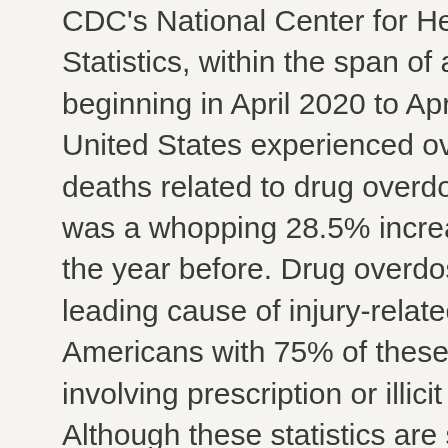CDC's National Center for Health Statistics, within the span of a year beginning in April 2020 to April 2021, the United States experienced over 100,000 deaths related to drug overdoses, which was a whopping 28.5% increase from the year before. Drug overdoses are the leading cause of injury-related death for Americans with 75% of these deaths involving prescription or illicit opioids. Although these statistics are staggering, this dilemma is not irreparable. While it won't be an easy fix, it's important to understand that it takes an entire community to heal and prevent it from getting worse.
In order to successfully tackle this issue, we first have to comprehend how it got so bad.